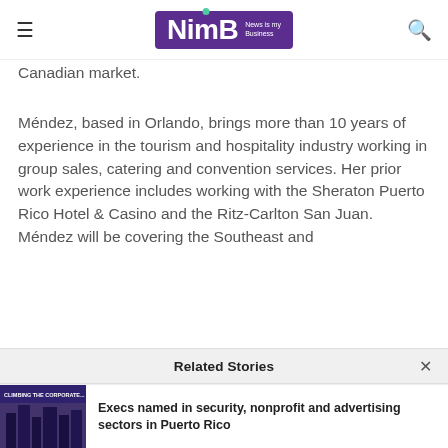NimB — News Is my Business
Canadian market.
Méndez, based in Orlando, brings more than 10 years of experience in the tourism and hospitality industry working in group sales, catering and convention services. Her prior work experience includes working with the Sheraton Puerto Rico Hotel & Casino and the Ritz-Carlton San Juan. Méndez will be covering the Southeast and
Related Stories
[Figure (photo): Thumbnail image with purple/blue tones and building silhouettes, labeled 'CLIMBING THE CORPORATE...']
Execs named in security, nonprofit and advertising sectors in Puerto Rico